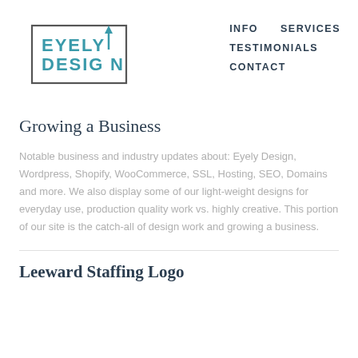[Figure (logo): Eyely Design logo — teal stylized text 'EYELY DESIGN' with an upward arrow, framed by a partial bracket/rectangle outline in dark gray]
INFO
SERVICES
TESTIMONIALS
CONTACT
Growing a Business
Notable business and industry updates about: Eyely Design, Wordpress, Shopify, WooCommerce, SSL, Hosting, SEO, Domains and more. We also display some of our light-weight designs for everyday use, production quality work vs. highly creative. This portion of our site is the catch-all of design work and growing a business.
Leeward Staffing Logo